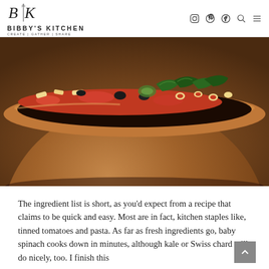BIBBY'S KITCHEN | CREATE | GATHER | SHARE
[Figure (photo): Close-up photo of a copper bowl containing pasta with tomato sauce, black olives, kale/spinach greens, zucchini, and herbs, placed on a textured brown surface.]
The ingredient list is short, as you'd expect from a recipe that claims to be quick and easy. Most are in fact, kitchen staples like, tinned tomatoes and pasta. As far as fresh ingredients go, baby spinach cooks down in minutes, although kale or Swiss chard will do nicely, too. I finish this